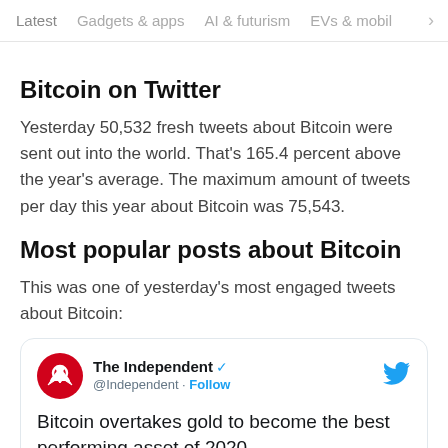Latest  Gadgets & apps  AI & futurism  EVs & mobil >
Bitcoin on Twitter
Yesterday 50,532 fresh tweets about Bitcoin were sent out into the world. That's 165.4 percent above the year's average. The maximum amount of tweets per day this year about Bitcoin was 75,543.
Most popular posts about Bitcoin
This was one of yesterday's most engaged tweets about Bitcoin:
[Figure (screenshot): Embedded tweet card from The Independent (@Independent) with verified badge and Follow button, Twitter bird logo top right. Tweet text: 'Bitcoin overtakes gold to become the best performing asset of 2020']